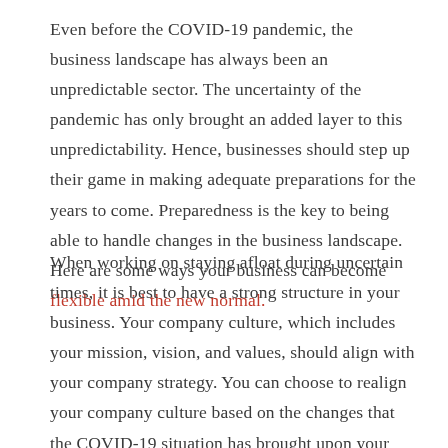Even before the COVID-19 pandemic, the business landscape has always been an unpredictable sector. The uncertainty of the pandemic has only brought an added layer to this unpredictability. Hence, businesses should step up their game in making adequate preparations for the years to come. Preparedness is the key to being able to handle changes in the business landscape. Here are some ways your business can become flexible amid the new normal.
When working on staying afloat during uncertain times, it is best to have a strong structure in your business. Your company culture, which includes your mission, vision, and values, should align with your company strategy. You can choose to realign your company culture based on the changes that the COVID-19 situation has brought upon your brand.